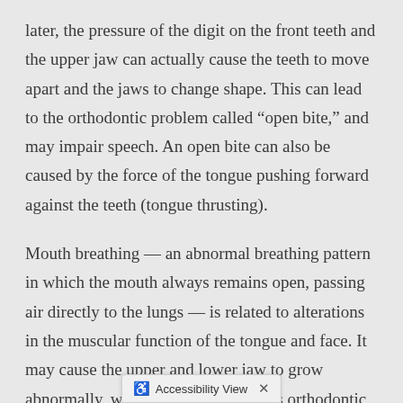later, the pressure of the digit on the front teeth and the upper jaw can actually cause the teeth to move apart and the jaws to change shape. This can lead to the orthodontic problem called "open bite," and may impair speech. An open bite can also be caused by the force of the tongue pushing forward against the teeth (tongue thrusting).
Mouth breathing — an abnormal breathing pattern in which the mouth always remains open, passing air directly to the lungs — is related to alterations in the muscular function of the tongue and face. It may cause the upper and lower jaw to grow abnormally, which can lead to serious orthodontic problems. Although mouth breathing may start from a physical difficulty, it can become a habitual action that's har...